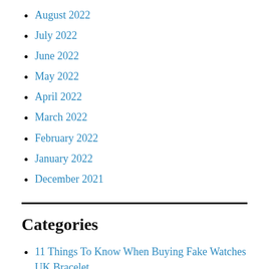August 2022
July 2022
June 2022
May 2022
April 2022
March 2022
February 2022
January 2022
December 2021
Categories
11 Things To Know When Buying Fake Watches UK Bracelet
13 Ingenious Replica Watch Site 2020 Up To